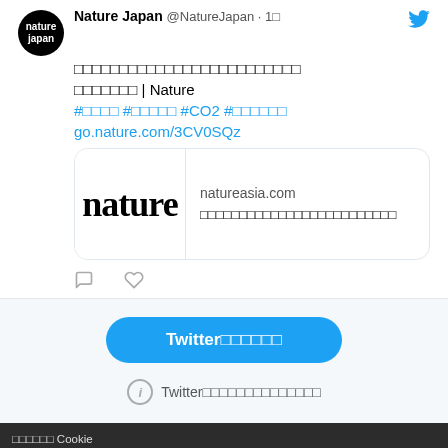[Figure (screenshot): Twitter/social media screenshot showing a Nature Japan tweet with avatar, tweet text in Japanese with hashtags including #CO2, a link card to natureasia.com with Nature logo, action icons (comment, like), a sign-in button 'Twitter□□□□□□', an info line 'Twitter□□□□□□□□□□□□□□', and at the bottom a cookie consent bar in Japanese with colored bottom navigation buttons.]